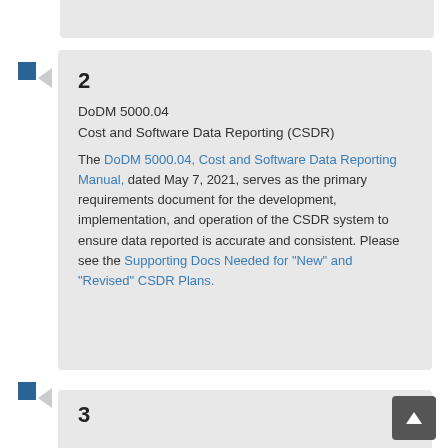2
DoDM 5000.04
Cost and Software Data Reporting (CSDR)
The DoDM 5000.04, Cost and Software Data Reporting Manual, dated May 7, 2021, serves as the primary requirements document for the development, implementation, and operation of the CSDR system to ensure data reported is accurate and consistent. Please see the Supporting Docs Needed for "New" and "Revised" CSDR Plans.
3